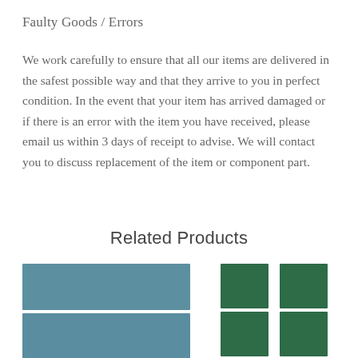Faulty Goods / Errors
We work carefully to ensure that all our items are delivered in the safest possible way and that they arrive to you in perfect condition. In the event that your item has arrived damaged or if there is an error with the item you have received, please email us within 3 days of receipt to advise. We will contact you to discuss replacement of the item or component part.
Related Products
[Figure (photo): Two horizontal rectangular blue-grey ceramic tiles stacked vertically]
[Figure (photo): Two columns of stacked dark green rectangular ceramic tiles]